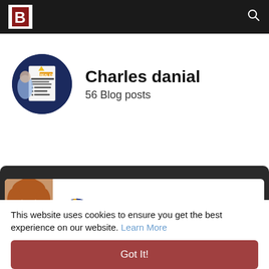B [logo] [search icon]
[Figure (photo): Circular profile avatar showing a dark blue book cover with 'REAL EX' text and small yellow triangle logo, partially visible person in background]
Charles danial
56 Blog posts
[Figure (photo): Dark card with white inner panel showing partial profile photo of person with brown/orange hair on left, and Mock4Solutions brand logo (book icon and stylized text MOCK4SOLUTIONS with yellow '4') on right]
This website uses cookies to ensure you get the best experience on our website. Learn More
Got It!